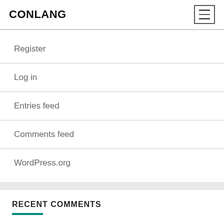CONLANG
Register
Log in
Entries feed
Comments feed
WordPress.org
RECENT COMMENTS
itsraining on The Dailies. August 29, 2022